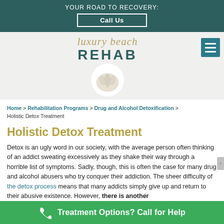YOUR ROAD TO RECOVERY: Call Us
[Figure (logo): Luxury Beach Rehab logo with script 'luxury beach' text above bold 'REHAB' and a seashell on white circle]
Home > Rehabilitation Programs > Drug and Alcohol Detoxification > Holistic Detox Treatment
Holistic Detox Treatment
Detox is an ugly word in our society, with the average person often thinking of an addict sweating excessively as they shake their way through a horrible list of symptoms. Sadly, though, this is often the case for many drug and alcohol abusers who try conquer their addiction. The sheer difficulty of the detox process means that many addicts simply give up and return to their abusive existence. However, there is another
Treatment Options? Call for Help